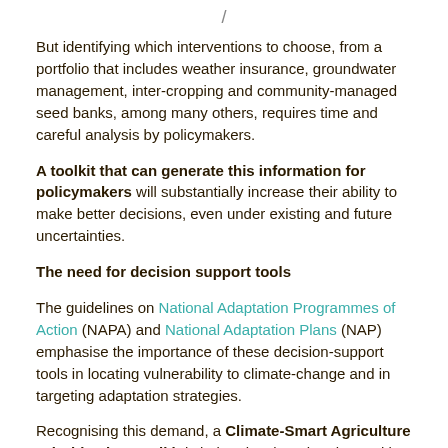But identifying which interventions to choose, from a portfolio that includes weather insurance, groundwater management, inter-cropping and community-managed seed banks, among many others, requires time and careful analysis by policymakers.
A toolkit that can generate this information for policymakers will substantially increase their ability to make better decisions, even under existing and future uncertainties.
The need for decision support tools
The guidelines on National Adaptation Programmes of Action (NAPA) and National Adaptation Plans (NAP) emphasise the importance of these decision-support tools in locating vulnerability to climate-change and in targeting adaptation strategies.
Recognising this demand, a Climate-Smart Agriculture Prioritisation Toolkit is being developed and tested by the